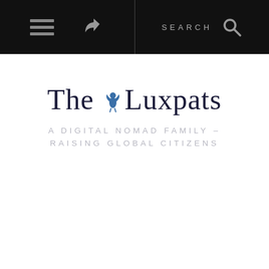Navigation bar with hamburger menu, share icon, SEARCH text, and search icon
The Luxpats
A DIGITAL NOMAD FAMILY – RAISING GLOBAL CITIZENS